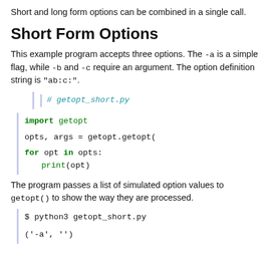Short and long form options can be combined in a single call.
Short Form Options
This example program accepts three options. The -a is a simple flag, while -b and -c require an argument. The option definition string is "ab:c:".
[Figure (screenshot): Python code block showing: # getopt_short.py comment, import getopt, opts, args = getopt.getopt(, for opt in opts: print(opt)]
The program passes a list of simulated option values to getopt() to show the way they are processed.
[Figure (screenshot): Shell code block showing: $ python3 getopt_short.py and ('-a', '')]